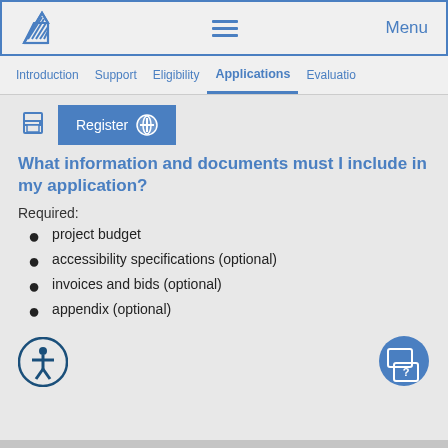Menu
Introduction  Support  Eligibility  Applications  Evaluation
[Figure (screenshot): Register button with icon and print icon]
What information and documents must I include in my application?
Required:
project budget
accessibility specifications (optional)
invoices and bids (optional)
appendix (optional)